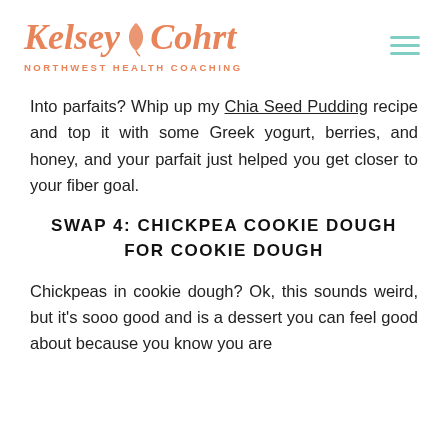Kelsey Cohrt NORTHWEST HEALTH COACHING
Into parfaits? Whip up my Chia Seed Pudding recipe and top it with some Greek yogurt, berries, and honey, and your parfait just helped you get closer to your fiber goal.
SWAP 4: CHICKPEA COOKIE DOUGH FOR COOKIE DOUGH
Chickpeas in cookie dough? Ok, this sounds weird, but it's sooo good and is a dessert you can feel good about because you know you are